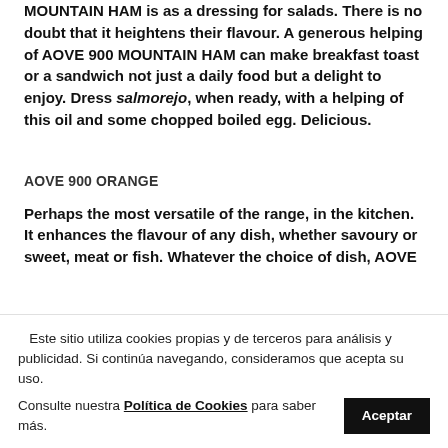MOUNTAIN HAM is as a dressing for salads. There is no doubt that it heightens their flavour. A generous helping of AOVE 900 MOUNTAIN HAM can make breakfast toast or a sandwich not just a daily food but a delight to enjoy. Dress salmorejo, when ready, with a helping of this oil and some chopped boiled egg. Delicious.
AOVE 900 ORANGE
Perhaps the most versatile of the range, in the kitchen. It enhances the flavour of any dish, whether savoury or sweet, meat or fish. Whatever the choice of dish, AOVE
Este sitio utiliza cookies propias y de terceros para análisis y publicidad. Si continúa navegando, consideramos que acepta su uso. Consulte nuestra Política de Cookies para saber más.